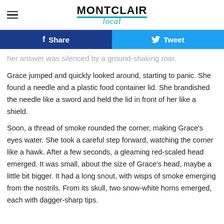MONTCLAIR Local
[Figure (other): Social share buttons: Facebook Share (dark blue) and Twitter Tweet (light blue)]
her answer was silenced by a ground-shaking roar.
Grace jumped and quickly looked around, starting to panic. She found a needle and a plastic food container lid. She brandished the needle like a sword and held the lid in front of her like a shield.
Soon, a thread of smoke rounded the corner, making Grace's eyes water. She took a careful step forward, watching the corner like a hawk. After a few seconds, a gleaming red-scaled head emerged. It was small, about the size of Grace's head, maybe a little bit bigger. It had a long snout, with wisps of smoke emerging from the nostrils. From its skull, two snow-white horns emerged, each with dagger-sharp tips.